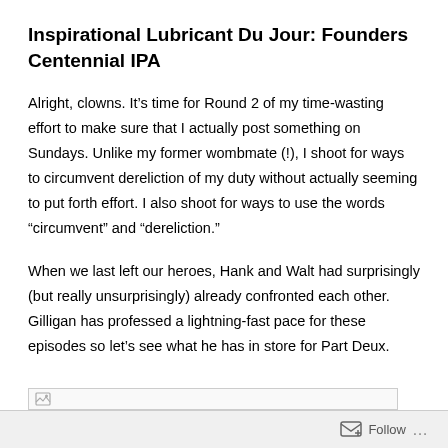Inspirational Lubricant Du Jour: Founders Centennial IPA
Alright, clowns. It’s time for Round 2 of my time-wasting effort to make sure that I actually post something on Sundays. Unlike my former wombmate (!), I shoot for ways to circumvent dereliction of my duty without actually seeming to put forth effort. I also shoot for ways to use the words “circumvent” and “dereliction.”
When we last left our heroes, Hank and Walt had surprisingly (but really unsurprisingly) already confronted each other. Gilligan has professed a lightning-fast pace for these episodes so let’s see what he has in store for Part Deux.
[Figure (other): Partial image stub visible at the bottom of the page, cut off]
Follow